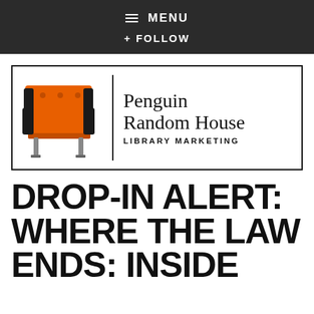≡ MENU
+ FOLLOW
[Figure (logo): Penguin Random House Library Marketing logo: orange armchair illustration with vertical divider and text 'Penguin Random House LIBRARY MARKETING']
DROP-IN ALERT: WHERE THE LAW ENDS: INSIDE